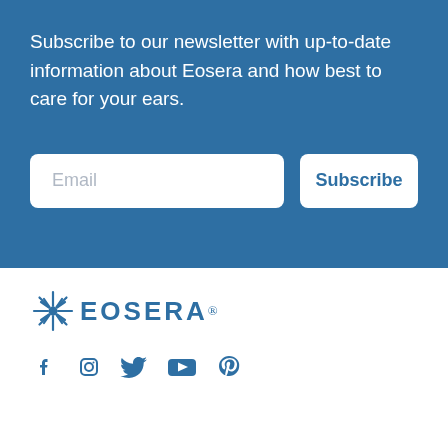Subscribe to our newsletter with up-to-date information about Eosera and how best to care for your ears.
[Figure (screenshot): Email input field placeholder and Subscribe button on blue background]
[Figure (logo): Eosera logo with starburst icon and EOSERA® wordmark in blue]
[Figure (infographic): Social media icons: Facebook, Instagram, Twitter, YouTube, Pinterest in blue]